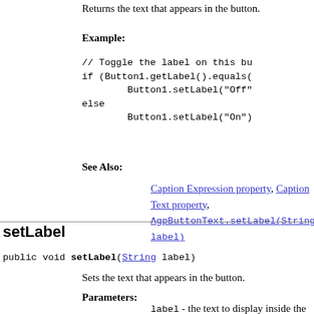Returns the text that appears in the button.
Example:
// Toggle the label on this bu
if (Button1.getLabel().equals(
        Button1.setLabel("Off"
else
        Button1.setLabel("On");
See Also:
Caption Expression property, Caption Text property, AgpButtonText.setLabel(String label)
setLabel
public void setLabel(String label)
Sets the text that appears in the button.
Parameters:
label - the text to display inside the button.
Example:
// Toggle the label on this bu
if (Button1.getLabel().equals(